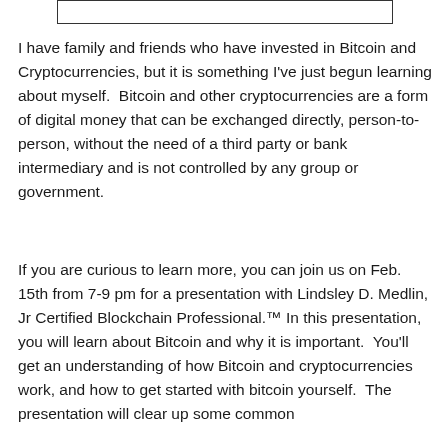[Figure (other): Empty rectangular box at top of page]
I have family and friends who have invested in Bitcoin and Cryptocurrencies, but it is something I've just begun learning about myself.  Bitcoin and other cryptocurrencies are a form of digital money that can be exchanged directly, person-to-person, without the need of a third party or bank intermediary and is not controlled by any group or government.
If you are curious to learn more, you can join us on Feb. 15th from 7-9 pm for a presentation with Lindsley D. Medlin, Jr Certified Blockchain Professional.™ In this presentation, you will learn about Bitcoin and why it is important.  You'll get an understanding of how Bitcoin and cryptocurrencies work, and how to get started with bitcoin yourself.  The presentation will clear up some common